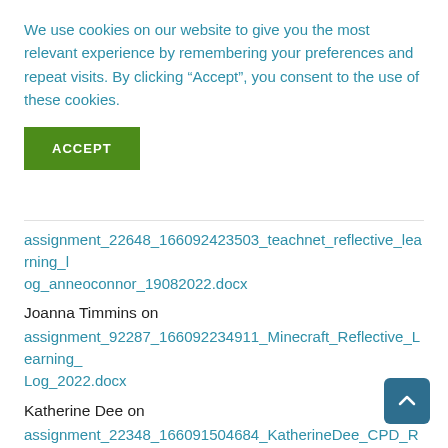We use cookies on our website to give you the most relevant experience by remembering your preferences and repeat visits. By clicking “Accept”, you consent to the use of these cookies.
ACCEPT
assignment_22648_166092423503_teachnet_reflective_learning_log_anneoconnor_19082022.docx
Joanna Timmins on
assignment_92287_166092234911_Minecraft_Reflective_Learning_Log_2022.docx
Katherine Dee on
assignment_22348_166091504684_KatherineDee_CPD_Record_2022_SEN.docx
Caitlin Connolly on
assignment_92270_166082589756_teachnet_reflective_learning_l